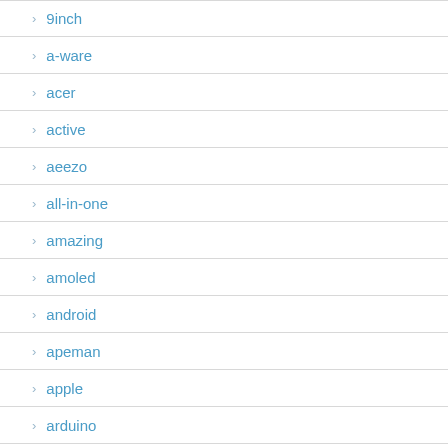9inch
a-ware
acer
active
aeezo
all-in-one
amazing
amoled
android
apeman
apple
arduino
asus
audio
auto